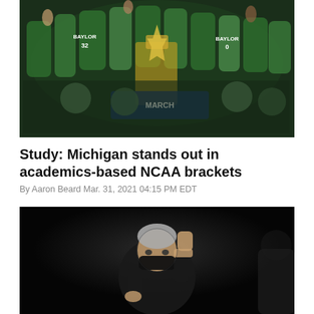[Figure (photo): Baylor basketball team celebrating with NCAA championship trophy, players wearing green jerseys, crowd of players and staff cheering]
Study: Michigan stands out in academics-based NCAA brackets
By Aaron Beard Mar. 31, 2021 04:15 PM EDT
[Figure (photo): A coach wearing a black mask, fist raised, celebrating, against a dark background]